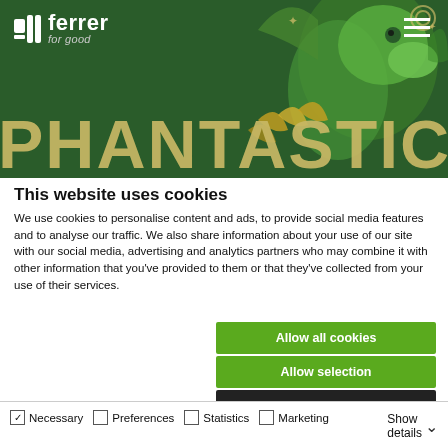[Figure (illustration): Ferrer 'for good' pharmaceutical company website header banner with dark green background, featuring a green dragon character and the large gold text 'PHANTASTICAL' across the bottom. The Ferrer logo (white, with 'for good' tagline) appears top-left, and a hamburger menu icon appears top-right.]
This website uses cookies
We use cookies to personalise content and ads, to provide social media features and to analyse our traffic. We also share information about your use of our site with our social media, advertising and analytics partners who may combine it with other information that you've provided to them or that they've collected from your use of their services.
Allow all cookies
Allow selection
Use necessary cookies only
Necessary  Preferences  Statistics  Marketing  Show details